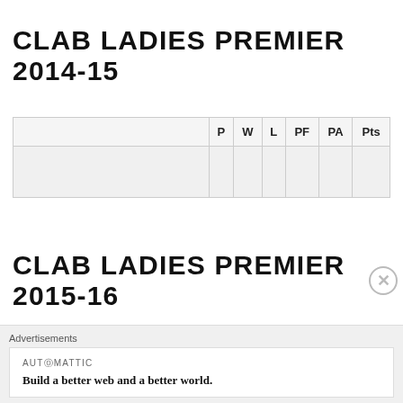CLAB LADIES PREMIER 2014-15
|  | P | W | L | PF | PA | Pts |
| --- | --- | --- | --- | --- | --- | --- |
|  |  |  |  |  |  |  |
CLAB LADIES PREMIER 2015-16
Advertisements
AUTOMATTIC
Build a better web and a better world.